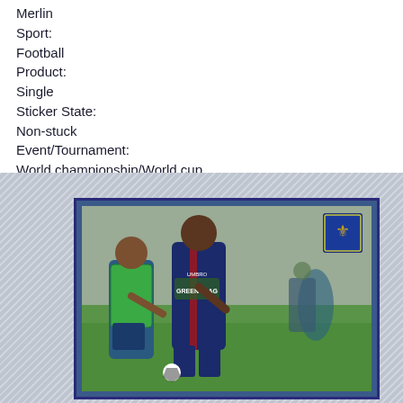Merlin
Sport:
Football
Product:
Single
Sticker State:
Non-stuck
Event/Tournament:
World championship/World cup
[Figure (photo): Photograph of a Merlin England football sticker inside a clear plastic sleeve. The sticker shows two England players in training — one wearing a green training bib over a blue kit, the other in a blue Umbro England training kit with Green Flag sponsor. An England Three Lions crest badge is visible in the top right of the sticker.]